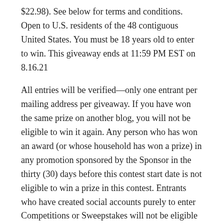$22.98). See below for terms and conditions. Open to U.S. residents of the 48 contiguous United States. You must be 18 years old to enter to win. This giveaway ends at 11:59 PM EST on 8.16.21
All entries will be verified—only one entrant per mailing address per giveaway. If you have won the same prize on another blog, you will not be eligible to win it again. Any person who has won an award (or whose household has won a prize) in any promotion sponsored by the Sponsor in the thirty (30) days before this contest start date is not eligible to win a prize in this contest. Entrants who have created social accounts purely to enter Competitions or Sweepstakes will not be eligible to win. All social accounts used must be public. The winner will be chosen randomly through Rafflecopter and contacted via email. A reply to the winning email is required within 48 hours before a new winner is chosen. Void where prohibited by law. One person entering per household, please. Chatty Patty's Place and Tabbys Pantry are not responsible for the shipment of the prize.
[Figure (other): Facebook and Twitter social media icon buttons]